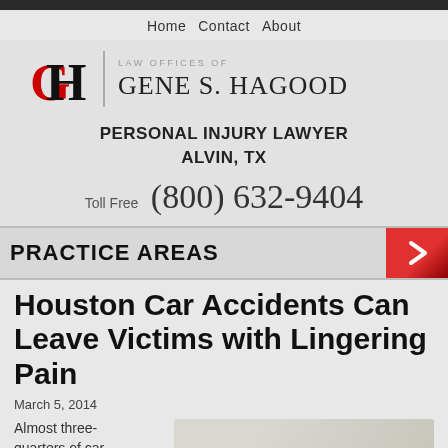Home   Contact   About
[Figure (logo): GH monogram logo with red G and black H letters overlapping]
LAW OFFICES OF GENE S. HAGOOD
PERSONAL INJURY LAWYER ALVIN, TX
Toll Free (800) 632-9404
PRACTICE AREAS
Houston Car Accidents Can Leave Victims with Lingering Pain
March 5, 2014
Almost three-quarters of car accidents in the